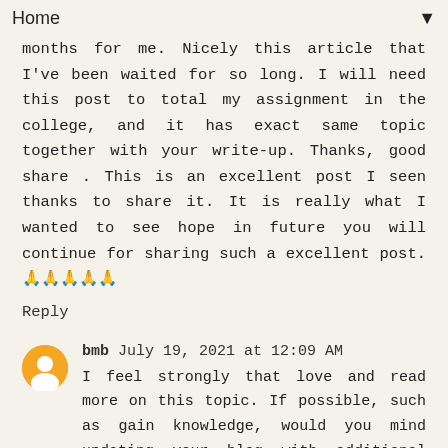Home
months for me. Nicely this article that I've been waited for so long. I will need this post to total my assignment in the college, and it has exact same topic together with your write-up. Thanks, good share . This is an excellent post I seen thanks to share it. It is really what I wanted to see hope in future you will continue for sharing such a excellent post. 🙏🙏🙏🙏🙏
Reply
bmb July 19, 2021 at 12:09 AM
I feel strongly that love and read more on this topic. If possible, such as gain knowledge, would you mind updating your blog with additional information? It is very useful for me . Awesome blog. I enjoyed reading your articles. This is truly a great read for me. I